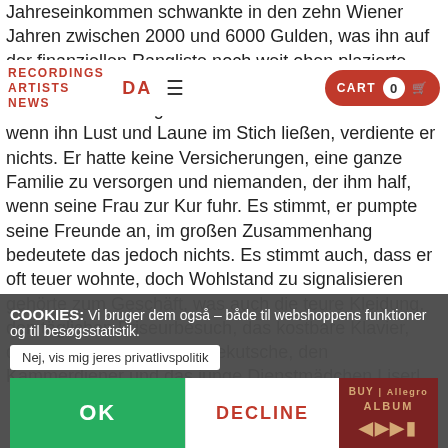Jahreseinkommen schwankte in den zehn Wiener Jahren zwischen 2000 und 6000 Gulden, was ihn auf der finanziellen Rangliste noch weit oben plazierte. Wenn er finanzielle Probleme hatte, lag das an seiner freiberuflichen Tätigkeit. In Krankheitszeiten oder wenn ihn Lust und Laune im Stich ließen, verdiente er nichts. Er hatte keine Versicherungen, eine ganze Familie zu versorgen und niemanden, der ihm half, wenn seine Frau zur Kur fuhr. Es stimmt, er pumpte seine Freunde an, im großen Zusammenhang bedeutete das jedoch nichts. Es stimmt auch, dass er oft teuer wohnte, doch Wohlstand zu signalisieren gehörte zum Geschäft, was auch die teure Kleidung, den täglichen Friseurbesuch, das kostbare Klavier, den Billardsalon, die Pferdekutsche, den Kammerdiener und das junge Dienstmädchen Liserl
RECORDINGS ARTISTS DA NEWS | CART 0
COOKIES: Vi bruger dem også – både til webshoppens funktioner og til besøgsstatistik.
Nej, vis mig jeres privatlivspolitik
OK   DECLINE   BUY | Allegro ALBUM